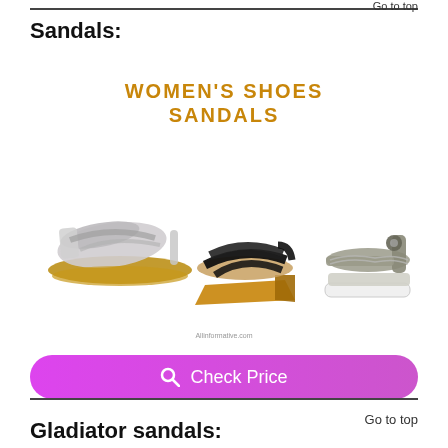Go to top
Sandals:
[Figure (photo): Women's Shoes Sandals promotional image showing three women's sandals: a silver/white flat slingback sandal on the left, a black wedge sandal in the middle, and a gray/khaki platform sandal on the right. Watermark: Allinformative.com]
Check Price
Go to top
Gladiator sandals: